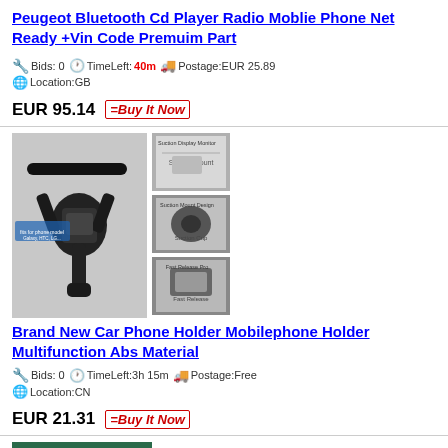Peugeot Bluetooth Cd Player Radio Moblie Phone Net Ready +Vin Code Premuim Part
Bids: 0  TimeLeft:40m  Postage:EUR 25.89  Location:GB
EUR 95.14  =BuyItNow
[Figure (photo): Car phone holder product images showing multiple angles including main holder view and detail shots]
Brand New Car Phone Holder Mobilephone Holder Multifunction Abs Material
Bids: 0  TimeLeft:3h 15m  Postage:Free  Location:CN
EUR 21.31  =BuyItNow
[Figure (photo): Photo of car phone mount product on green background]